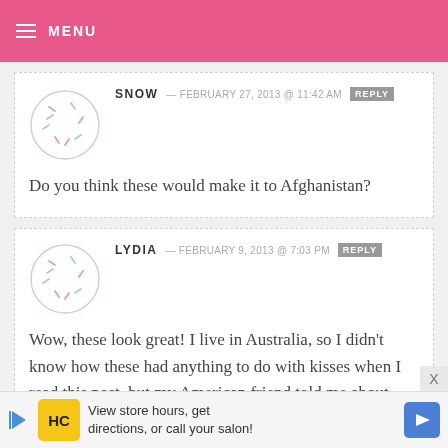MENU
SNOW — FEBRUARY 27, 2013 @ 11:42 AM REPLY
Do you think these would make it to Afghanistan?
LYDIA — FEBRUARY 9, 2013 @ 7:03 PM REPLY
Wow, these look great! I live in Australia, so I didn't know how these had anything to do with kisses when I read this post, but my American friend told me about hershey kisses. I think
View store hours, get directions, or call your salon!